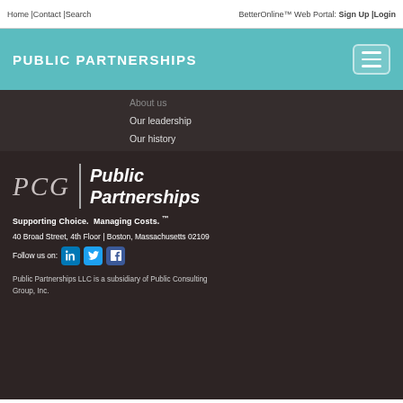Home | Contact | Search  BetterOnline™ Web Portal: Sign Up | Login
PUBLIC PARTNERSHIPS
About us
Our leadership
Our history
[Figure (logo): PCG | Public Partnerships logo with italic serif PCG text, vertical divider, and bold italic Public Partnerships text in white on dark background]
Supporting Choice.  Managing Costs. ™
40 Broad Street, 4th Floor | Boston, Massachusetts 02109
Follow us on: [LinkedIn] [Twitter] [Facebook]
Public Partnerships LLC is a subsidiary of Public Consulting Group, Inc.